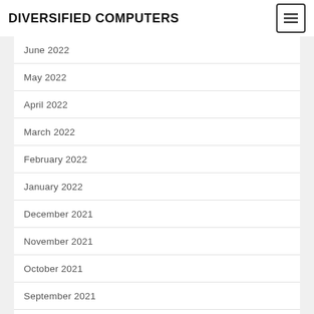DIVERSIFIED COMPUTERS
June 2022
May 2022
April 2022
March 2022
February 2022
January 2022
December 2021
November 2021
October 2021
September 2021
August 2021